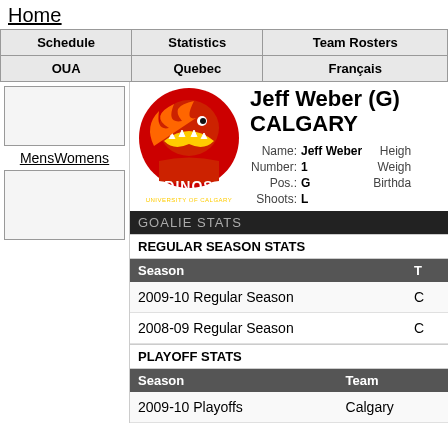Home
| Schedule | Statistics | Team Rosters |
| --- | --- | --- |
| OUA | Quebec | Français |
MensWomens
Jeff Weber (G) CALGARY
Name: Jeff Weber   Height:
Number: 1   Weight:
Pos.: G   Birthday:
Shoots: L
GOALIE STATS
REGULAR SEASON STATS
| Season | T |
| --- | --- |
| 2009-10 Regular Season | C |
| 2008-09 Regular Season | C |
PLAYOFF STATS
| Season | Team |
| --- | --- |
| 2009-10 Playoffs | Calgary |